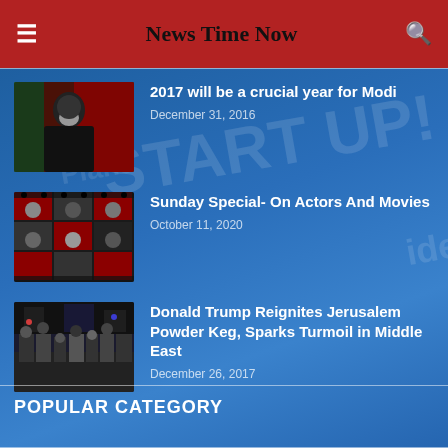News Time Now
2017 will be a crucial year for Modi — December 31, 2016
Sunday Special- On Actors And Movies — October 11, 2020
Donald Trump Reignites Jerusalem Powder Keg, Sparks Turmoil in Middle East — December 26, 2017
POPULAR CATEGORY